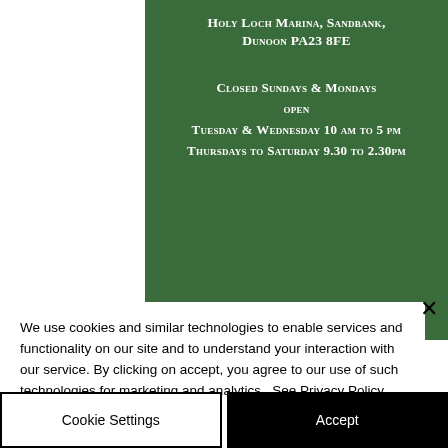Holy Loch Marina, Sandbank, Dunoon PA23 8FE
Closed Sundays & Mondays open Tuesday & Wednesday 10 am to 5 pm Thursdays to Saturday 9.30 to 2.30pm
We use cookies and similar technologies to enable services and functionality on our site and to understand your interaction with our service. By clicking on accept, you agree to our use of such technologies for marketing and analytics.  See Privacy Policy
Cookie Settings
Accept